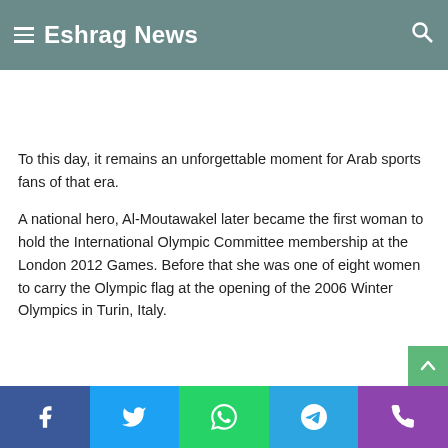Eshrag News
To this day, it remains an unforgettable moment for Arab sports fans of that era.
A national hero, Al-Moutawakel later became the first woman to hold the International Olympic Committee membership at the London 2012 Games. Before that she was one of eight women to carry the Olympic flag at the opening of the 2006 Winter Olympics in Turin, Italy.